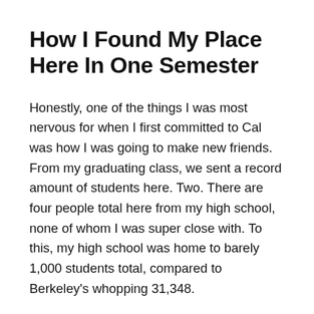How I Found My Place Here In One Semester
Honestly, one of the things I was most nervous for when I first committed to Cal was how I was going to make new friends. From my graduating class, we sent a record amount of students here. Two. There are four people total here from my high school, none of whom I was super close with. To this, my high school was home to barely 1,000 students total, compared to Berkeley's whopping 31,348.
I remember convincing myself I wouldn't be